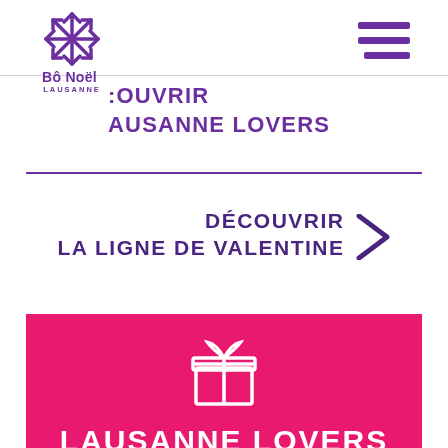[Figure (logo): Bô Noël Lausanne logo with purple snowflake icon above the text]
[Figure (illustration): Hamburger menu icon (three horizontal purple lines) in top right corner]
DÉCOUVRIR LAUSANNE LOVERS
DÉCOUVRIR LA LIGNE DE VALENTINE
[Figure (illustration): White gift box icon on pink/magenta background]
LAUSANNE LOVERS
(partially visible text below)